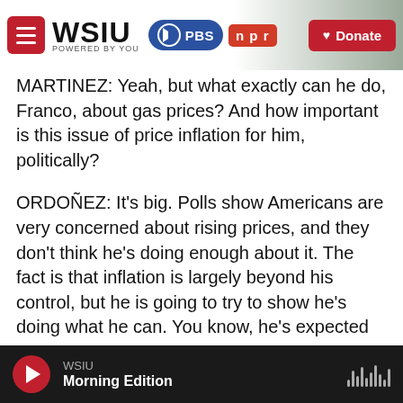WSIU — Powered by You | PBS | NPR | Donate
MARTINEZ: Yeah, but what exactly can he do, Franco, about gas prices? And how important is this issue of price inflation for him, politically?
ORDOÑEZ: It's big. Polls show Americans are very concerned about rising prices, and they don't think he's doing enough about it. The fact is that inflation is largely beyond his control, but he is going to try to show he's doing what he can. You know, he's expected to outline a four-point plan to lower prices. That includes some things like making more things in America and strengthening supply chains.
WSIU — Morning Edition